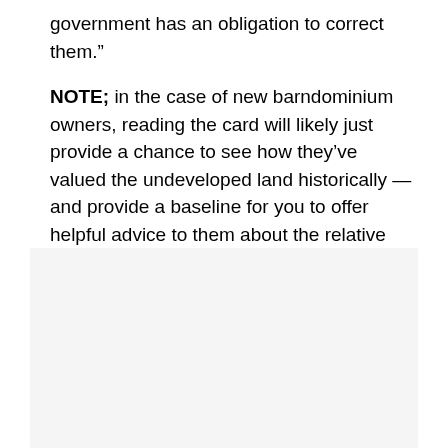government has an obligation to correct them.”
NOTE; in the case of new barndominium owners, reading the card will likely just provide a chance to see how they’ve valued the undeveloped land historically — and provide a baseline for you to offer helpful advice to them about the relative impact of your build.
[Figure (other): Light gray shaded rectangle box at the bottom of the page]